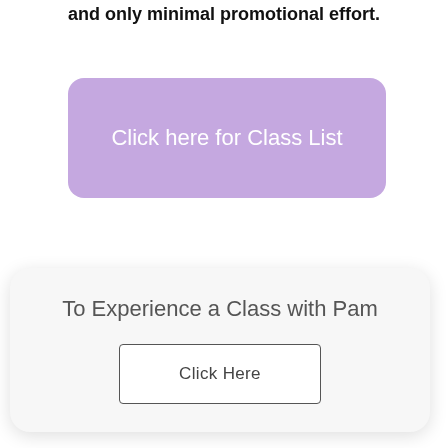and only minimal promotional effort.
[Figure (other): Purple rounded rectangle button with white text reading 'Click here for Class List']
[Figure (other): Light gray rounded card containing the text 'To Experience a Class with Pam' and a bordered 'Click Here' button]